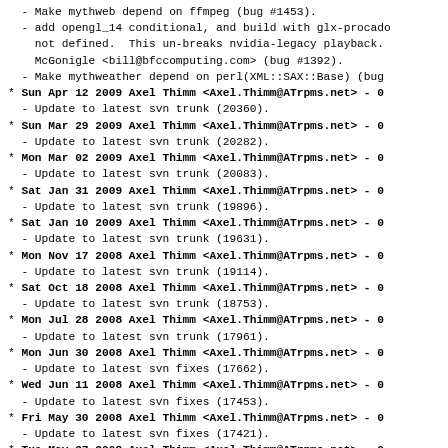- Make mythweb depend on ffmpeg (bug #1453).
- add opengl_14 conditional, and build with glx-procado
    not defined.  This un-breaks nvidia-legacy playback.
    McGonigle <bill@bfccomputing.com> (bug #1392).
- Make mythweather depend on perl(XML::SAX::Base) (bug
* Sun Apr 12 2009 Axel Thimm <Axel.Thimm@ATrpms.net> - 0
  - Update to latest svn trunk (20360).
* Sun Mar 29 2009 Axel Thimm <Axel.Thimm@ATrpms.net> - 0
  - Update to latest svn trunk (20282).
* Mon Mar 02 2009 Axel Thimm <Axel.Thimm@ATrpms.net> - 0
  - Update to latest svn trunk (20083).
* Sat Jan 31 2009 Axel Thimm <Axel.Thimm@ATrpms.net> - 0
  - Update to latest svn trunk (19896).
* Sat Jan 10 2009 Axel Thimm <Axel.Thimm@ATrpms.net> - 0
  - Update to latest svn trunk (19631).
* Mon Nov 17 2008 Axel Thimm <Axel.Thimm@ATrpms.net> - 0
  - Update to latest svn trunk (19114).
* Sat Oct 18 2008 Axel Thimm <Axel.Thimm@ATrpms.net> - 0
  - Update to latest svn trunk (18753).
* Mon Jul 28 2008 Axel Thimm <Axel.Thimm@ATrpms.net> - 0
  - Update to latest svn trunk (17961).
* Mon Jun 30 2008 Axel Thimm <Axel.Thimm@ATrpms.net> - 0
  - Update to latest svn fixes (17662).
* Wed Jun 11 2008 Axel Thimm <Axel.Thimm@ATrpms.net> - 0
  - Update to latest svn fixes (17453).
* Fri May 30 2008 Axel Thimm <Axel.Thimm@ATrpms.net> - 0
  - Update to latest svn fixes (17421).
* Tue May 27 2008 Axel Thimm <Axel.Thimm@ATrpms.net> - 0
  - Update to latest svn fixes (17406).
* Wed Apr 30 2008 Axel Thimm <Axel.Thimm@ATrpms.net> - 0